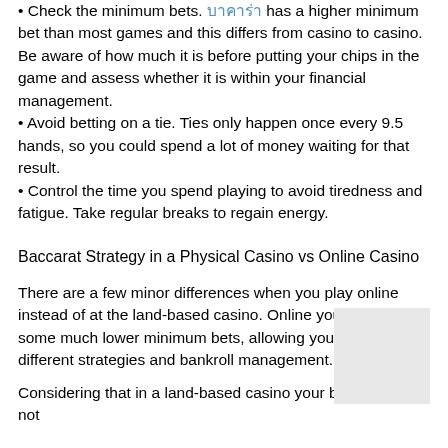• Check the minimum bets. บาคาร่า has a higher minimum bet than most games and this differs from casino to casino. Be aware of how much it is before putting your chips in the game and assess whether it is within your financial management.
• Avoid betting on a tie. Ties only happen once every 9.5 hands, so you could spend a lot of money waiting for that result.
• Control the time you spend playing to avoid tiredness and fatigue. Take regular breaks to regain energy.
Baccarat Strategy in a Physical Casino vs Online Casino
There are a few minor differences when you play online instead of at the land-based casino. Online you will find some much lower minimum bets, allowing you to test different strategies and bankroll management.
Considering that in a land-based casino your budget may not